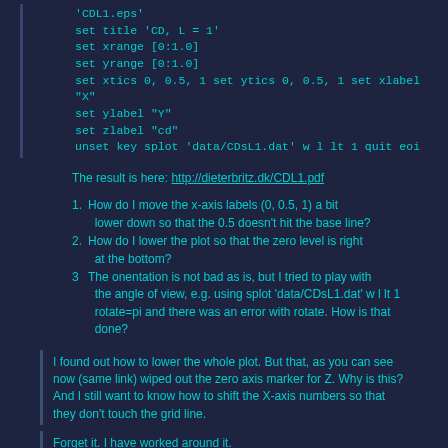'CDL1.eps'
set title 'CD, L = 1'
set xrange [0:1.0]
set yrange [0:1.0]
set xtics 0, 0.5, 1 set ytics 0, 0.5, 1 set xlabel "X"
set ylabel "Y"
set zlabel "cd"
unset key splot 'data/CDsL1.dat' w l lt 1 quit eoi
The result is here: http://dieterbritz.dk/CDL1.pdf
1. How do I move the x-axis labels (0, 0.5, 1) a bit lower down so that the 0.5 doesn't hit the base line?
2. How do I lower the plot so that the zero level is right at the bottom?
3 The onentation is not bad as is, but I tried to play with the angle of view, e.g. using splot 'data/CDsL1.dat' w l lt 1 rotate=pi and there was an error with rotate. How is that done?
I found out how to lower the whole plot. But that, as you can see now (same link) wiped out the zero axis marker for Z. Why is this? And I still want to know how to shift the X-axis numbers so that they don't touch the grid line.
Forget it. I have worked around it.
Please tell ......
Nobody needs a "work around" for that. See help xtics and use the "offset". It's simple.
Jörg
I tried that and the numbers got shifted left but still touching the